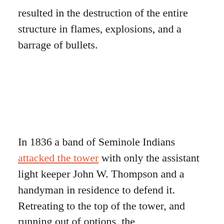resulted in the destruction of the entire structure in flames, explosions, and a barrage of bullets.
In 1836 a band of Seminole Indians attacked the tower with only the assistant light keeper John W. Thompson and a handyman in residence to defend it. Retreating to the top of the tower, and running out of options, the